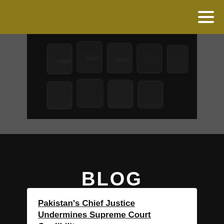[Figure (photo): Dark keyboard keys photographed from above against a black background]
BLOG
Pakistan's Chief Justice Undermines Supreme Court Credibility
L. Ali Khan Imagine a system under which the U.S. Supreme Court hears cases as